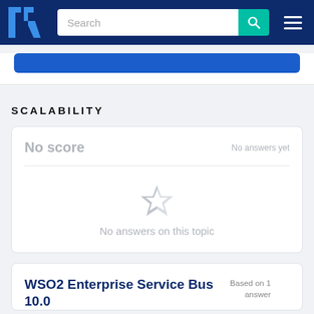TrustRadius navigation bar with Search and menu
SCALABILITY
No score — No answers yet — No answers on this topic
WSO2 Enterprise Service Bus 10.0 — Based on 1 answer